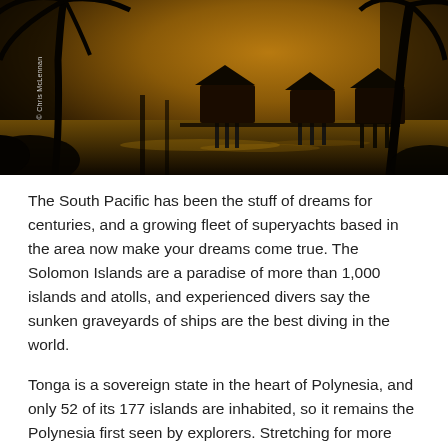[Figure (photo): Tropical sunset scene with silhouettes of palm trees in the foreground and overwater bungalows on stilts reflected in water, under a warm orange-brown sky. Photo credit: Chris McLennan.]
The South Pacific has been the stuff of dreams for centuries, and a growing fleet of superyachts based in the area now make your dreams come true. The Solomon Islands are a paradise of more than 1,000 islands and atolls, and experienced divers say the sunken graveyards of ships are the best diving in the world.
Tonga is a sovereign state in the heart of Polynesia, and only 52 of its 177 islands are inhabited, so it remains the Polynesia first seen by explorers. Stretching for more than 500 miles, it could take you years to visit all the islands, let alone swim over the untouched reefs.Vanuatu is another island paradise, this time in Oceania, with 82 islands, rich